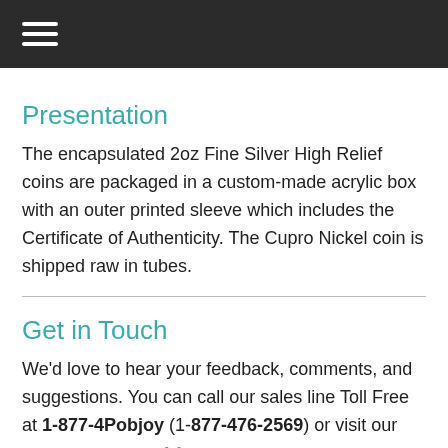☰
Presentation
The encapsulated 2oz Fine Silver High Relief coins are packaged in a custom-made acrylic box with an outer printed sleeve which includes the Certificate of Authenticity. The Cupro Nickel coin is shipped raw in tubes.
Get in Touch
We'd love to hear your feedback, comments, and suggestions. You can call our sales line Toll Free at 1-877-4Pobjoy (1-877-476-2569) or visit our website www.pobjoy.com.